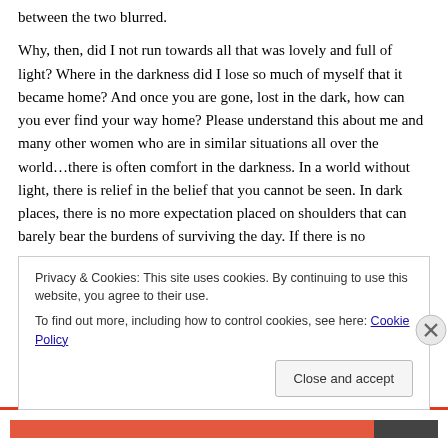between the two blurred.
Why, then, did I not run towards all that was lovely and full of light? Where in the darkness did I lose so much of myself that it became home? And once you are gone, lost in the dark, how can you ever find your way home? Please understand this about me and many other women who are in similar situations all over the world…there is often comfort in the darkness. In a world without light, there is relief in the belief that you cannot be seen. In dark places, there is no more expectation placed on shoulders that can barely bear the burdens of surviving the day. If there is no
Privacy & Cookies: This site uses cookies. By continuing to use this website, you agree to their use.
To find out more, including how to control cookies, see here: Cookie Policy